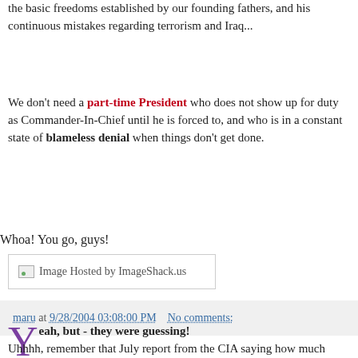the basic freedoms established by our founding fathers, and his continuous mistakes regarding terrorism and Iraq...
We don't need a part-time President who does not show up for duty as Commander-In-Chief until he is forced to, and who is in a constant state of blameless denial when things don't get done.
Whoa! You go, guys!
[Figure (other): Image Hosted by ImageShack.us - broken image placeholder]
maru at 9/28/2004 03:08:00 PM    No comments:
Yeah, but - they were guessing!
Uhhhh, remember that July report from the CIA saying how much worse things were likely to get in Iraq? Well, it wasn't